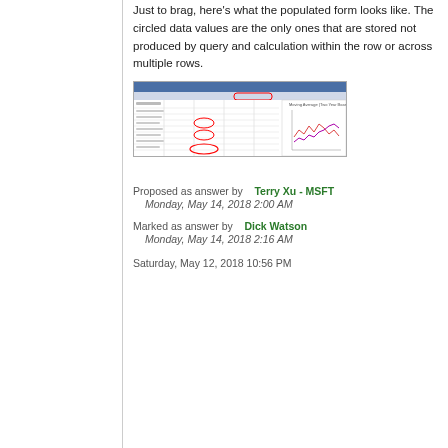Just to brag, here's what the populated form looks like. The circled data values are the only ones that are stored not produced by query and calculation within the row or across multiple rows.
[Figure (screenshot): Screenshot of a populated form with data values, some circled in red, and a line chart on the right side.]
Proposed as answer by   Terry Xu - MSFT
  Monday, May 14, 2018 2:00 AM
Marked as answer by   Dick Watson
  Monday, May 14, 2018 2:16 AM
Saturday, May 12, 2018 10:56 PM